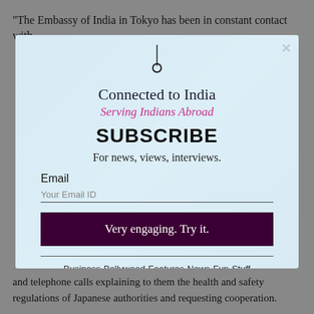"The Embassy of India in Tokyo has been in constant contact with
[Figure (screenshot): Modal popup for 'Connected to India - Serving Indians Abroad' newsletter subscription with email input and dark red subscribe button. Background shows blue glass building architecture. Has a close X button in top right. Contains pin/location icon at top, title 'Connected to India', subtitle 'Serving Indians Abroad' in pink, 'SUBSCRIBE' in bold, 'For news, views, interviews.' text, Email field with placeholder 'Your Email ID', button 'Very engaging. Try it.', horizontal divider, and tagline 'Business-Bollywood-Features-News-Fun-Stuff'.]
and telephone calls explaining to them the health and safety regulations of Japanese authorities and requesting cooperation.